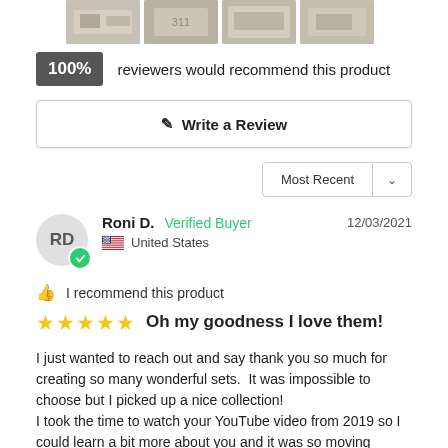[Figure (photo): Four thumbnail photos of products arranged in a strip at the top]
100% reviewers would recommend this product
✎ Write a Review
Most Recent ∨
Roni D.  Verified Buyer  12/03/2021
RD  🇺🇸 United States
👍 I recommend this product
★★★★★  Oh my goodness I love them!
I just wanted to reach out and say thank you so much for creating so many wonderful sets.  It was impossible to choose but I picked up a nice collection!
I took the time to watch your YouTube video from 2019 so I could learn a bit more about you and it was so moving